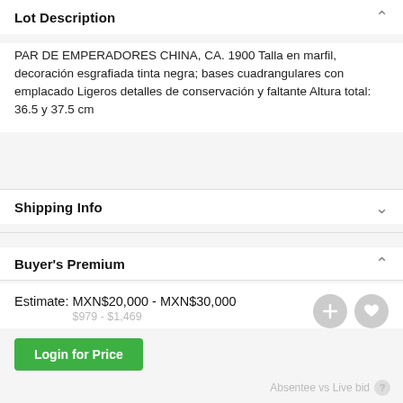Lot Description
PAR DE EMPERADORES CHINA, CA. 1900 Talla en marfil, decoración esgrafiada tinta negra; bases cuadrangulares con emplacado Ligeros detalles de conservación y faltante Altura total: 36.5 y 37.5 cm
Shipping Info
Buyer's Premium
Estimate: MXN$20,000 - MXN$30,000
$979 - $1,469
Login for Price
Absentee vs Live bid